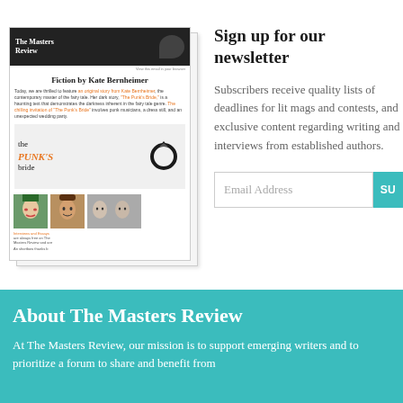[Figure (screenshot): A mock/preview image of The Masters Review newsletter email, showing 'Fiction by Kate Bernheimer' headline, 'the PUNK'S bride' story title with a ring icon, three author photos, and small body text. Two overlapping paper/card shadows suggest a newsletter preview.]
Sign up for our newsletter
Subscribers receive quality lists of deadlines for lit mags and contests, and exclusive content regarding writing and interviews from established authors.
Email Address  SU[BSCRIBE]
About The Masters Review
At The Masters Review, our mission is to support emerging writers and to prioritize a forum to share and benefit from...